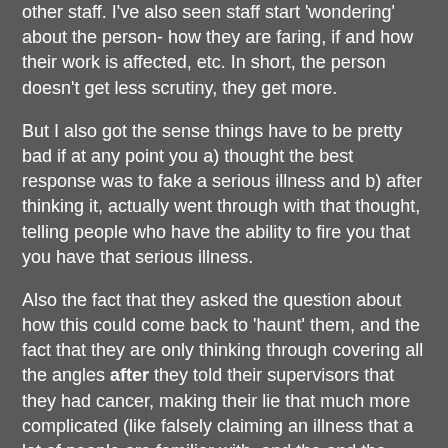other staff. I've also seen staff start 'wondering' about the person- how they are faring, if and how their work is affected, etc. In short, the person doesn't get less scrutiny, they get more.
But I also got the sense things have to be pretty bad if at any point you a) thought the best response was to fake a serious illness and b) after thinking it, actually went through with that thought, telling people who have the ability to fire you that you have that serious illness.
Also the fact that they asked the question about how this could come back to 'haunt' them, and the fact that they are only thinking through covering all the angles after they told their supervisors that they had cancer, making their lie that much more complicated (like falsely claiming an illness that a lot of people are familiar with, and the and the quirky details of the story -"recurring childhood cancer"?) , suggests that they aren't coolly calculating grifters, but